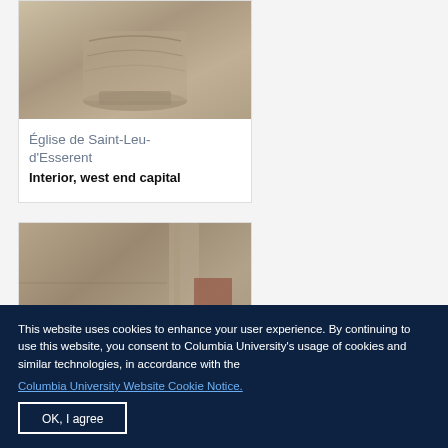[Figure (photo): Stone architectural capital detail from Église de Saint-Leu-d'Esserent, interior west end capital, showing carved stone column top]
Église de Saint-Leu-d'Esserent
Interior, west end capital
[Figure (photo): Stone architectural relief carving detail from Église de Saint-Leu-d'Esserent, showing carved figures and column details]
This website uses cookies to enhance your user experience. By continuing to use this website, you consent to Columbia University's usage of cookies and similar technologies, in accordance with the
Columbia University Website Cookie Notice.